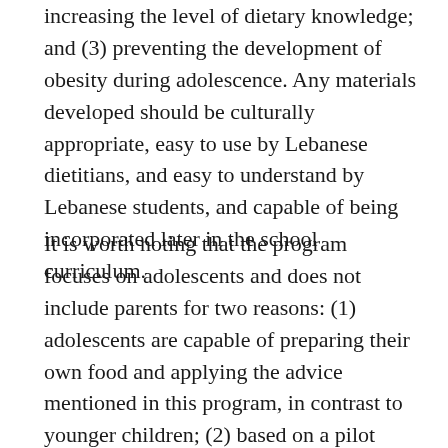increasing the level of dietary knowledge; and (3) preventing the development of obesity during adolescence. Any materials developed should be culturally appropriate, easy to use by Lebanese dietitians, and easy to understand by Lebanese students, and capable of being incorporated later in the school curriculum.
It is worth noting that the program focuses on adolescents and does not include parents for two reasons: (1) adolescents are capable of preparing their own food and applying the advice mentioned in this program, in contrast to younger children; (2) based on a pilot study (Said et al., 2019), the participation rates of parents filling in questionnaires were low, and therefore it was not promising to include parents in an